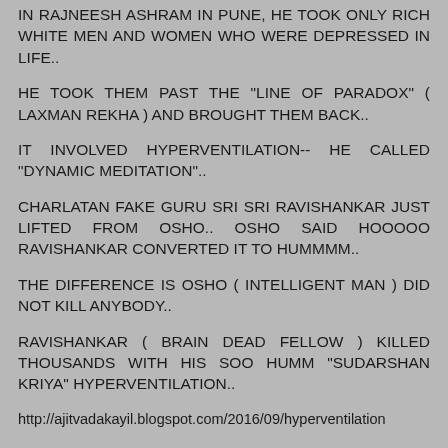IN RAJNEESH ASHRAM IN PUNE, HE TOOK ONLY RICH WHITE MEN AND WOMEN WHO WERE DEPRESSED IN LIFE..
HE TOOK THEM PAST THE "LINE OF PARADOX" ( LAXMAN REKHA ) AND BROUGHT THEM BACK..
IT INVOLVED HYPERVENTILATION-- HE CALLED "DYNAMIC MEDITATION"..
CHARLATAN FAKE GURU SRI SRI RAVISHANKAR JUST LIFTED FROM OSHO.. OSHO SAID HOOOOO RAVISHANKAR CONVERTED IT TO HUMMMM..
THE DIFFERENCE IS OSHO ( INTELLIGENT MAN ) DID NOT KILL ANYBODY..
RAVISHANKAR ( BRAIN DEAD FELLOW ) KILLED THOUSANDS WITH HIS SOO HUMM "SUDARSHAN KRIYA" HYPERVENTILATION..
http://ajitvadakayil.blogspot.com/2016/09/hyperventilation